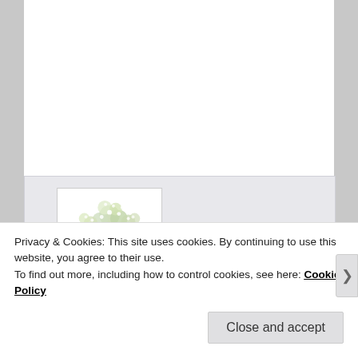[Figure (illustration): Avatar image of a decorative tree with white/green blossoms, brown trunk, used as a profile picture for user 'sobrietytree']
sobrietytree on May 2, 2020 at 6:50 pm said:
“Sober as a bitten fingernail” – wow. Brilliant. And the first book that popped into my mind is The Artist’s Way… though that’s not specifically on dealing with depression. Thought I’d jot it down
Privacy & Cookies: This site uses cookies. By continuing to use this website, you agree to their use.
To find out more, including how to control cookies, see here: Cookie Policy
Close and accept